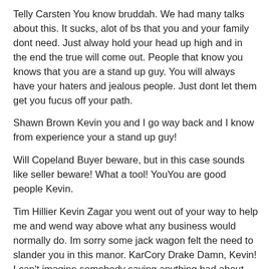Telly Carsten You know bruddah. We had many talks about this. It sucks, alot of bs that you and your family dont need. Just alway hold your head up high and in the end the true will come out. People that know you knows that you are a stand up guy. You will always have your haters and jealous people. Just dont let them get you fucus off your path.
Shawn Brown Kevin you and I go way back and I know from experience your a stand up guy!
Will Copeland Buyer beware, but in this case sounds like seller beware! What a tool! YouYou are good people Kevin.
Tim Hillier Kevin Zagar you went out of your way to help me and wend way above what any business would normally do. Im sorry some jack wagon felt the need to slander you in this manor. KarCory Drake Damn, Kevin! I can't imagine somebody saying anything bad about you OR Mendeola.
I hope there's something stronger left after the dust settles than what was there before — and I really hope this guy loses.ma will take care of it in the end. Keep up the good work supplying a great product.